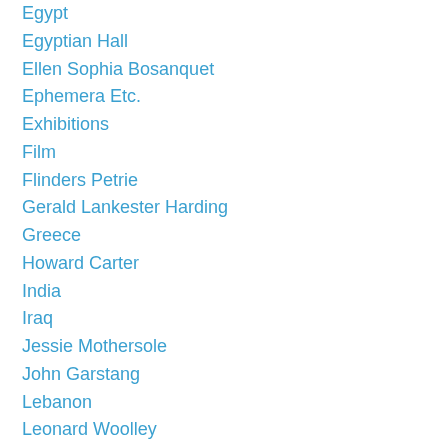Egypt
Egyptian Hall
Ellen Sophia Bosanquet
Ephemera Etc.
Exhibitions
Film
Flinders Petrie
Gerald Lankester Harding
Greece
Howard Carter
India
Iraq
Jessie Mothersole
John Garstang
Lebanon
Leonard Woolley
London
Mandate Palestine
Mandate Transjordan
Music
Palestine Exploration Fund